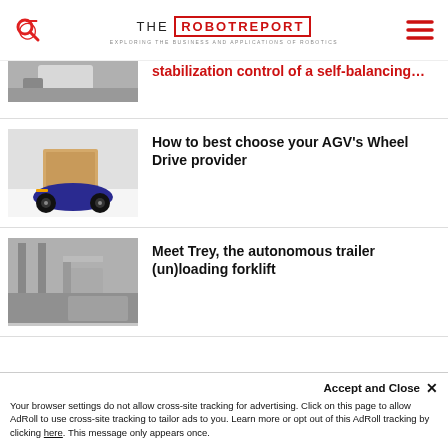THE ROBOT REPORT — EXPLORING THE BUSINESS AND APPLICATIONS OF ROBOTICS
Stabilization control of a self-balancing…
How to best choose your AGV's Wheel Drive provider
Meet Trey, the autonomous trailer (un)loading forklift
Accept and Close ✕
Your browser settings do not allow cross-site tracking for advertising. Click on this page to allow AdRoll to use cross-site tracking to tailor ads to you. Learn more or opt out of this AdRoll tracking by clicking here. This message only appears once.